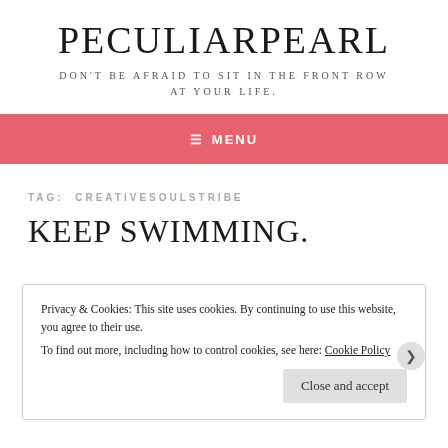PECULIARPEARL
DON'T BE AFRAID TO SIT IN THE FRONT ROW AT YOUR LIFE.
≡ MENU
TAG: CREATIVESOULSTRIBE
KEEP SWIMMING.
Privacy & Cookies: This site uses cookies. By continuing to use this website, you agree to their use.
To find out more, including how to control cookies, see here: Cookie Policy
Close and accept